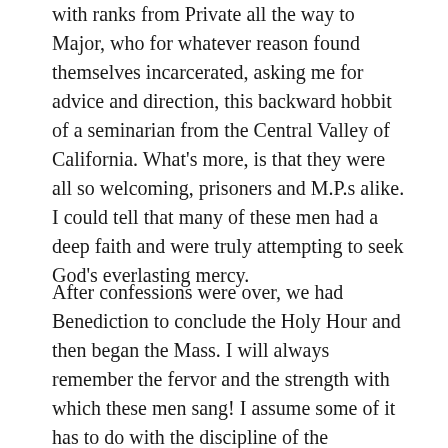with ranks from Private all the way to Major, who for whatever reason found themselves incarcerated, asking me for advice and direction, this backward hobbit of a seminarian from the Central Valley of California. What's more, is that they were all so welcoming, prisoners and M.P.s alike. I could tell that many of these men had a deep faith and were truly attempting to seek God's everlasting mercy.
After confessions were over, we had Benediction to conclude the Holy Hour and then began the Mass. I will always remember the fervor and the strength with which these men sang! I assume some of it has to do with the discipline of the institution and their military training, but to hear their voices ring out in praise to God was truly an edifying experience. I now understand why a soldier's battle cry can strike fear into the heart of